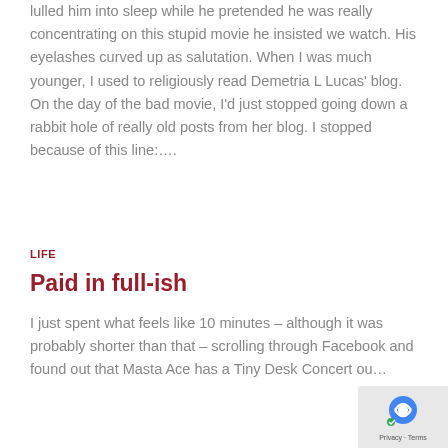lulled him into sleep while he pretended he was really concentrating on this stupid movie he insisted we watch. His eyelashes curved up as salutation. When I was much younger, I used to religiously read Demetria L Lucas' blog. On the day of the bad movie, I'd just stopped going down a rabbit hole of really old posts from her blog. I stopped because of this line:….
LIFE
Paid in full-ish
I just spent what feels like 10 minutes – although it was probably shorter than that – scrolling through Facebook and found out that Masta Ace has a Tiny Desk Concert ou…